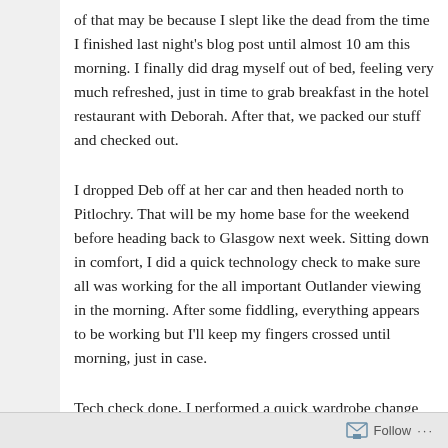of that may be because I slept like the dead from the time I finished last night's blog post until almost 10 am this morning. I finally did drag myself out of bed, feeling very much refreshed, just in time to grab breakfast in the hotel restaurant with Deborah. After that, we packed our stuff and checked out.
I dropped Deb off at her car and then headed north to Pitlochry. That will be my home base for the weekend before heading back to Glasgow next week. Sitting down in comfort, I did a quick technology check to make sure all was working for the all important Outlander viewing in the morning. After some fiddling, everything appears to be working but I'll keep my fingers crossed until morning, just in case.
Tech check done, I performed a quick wardrobe change and headed across the mountain from Pitlochry to Crieff.  It was a lovely drive through misty rain. Hopefully I'll get a chance to take some pictures
Follow